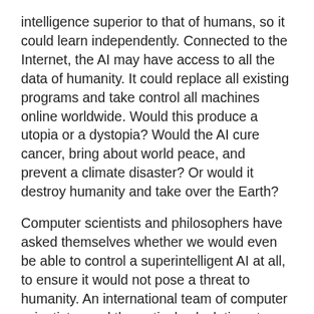intelligence superior to that of humans, so it could learn independently. Connected to the Internet, the AI may have access to all the data of humanity. It could replace all existing programs and take control all machines online worldwide. Would this produce a utopia or a dystopia? Would the AI cure cancer, bring about world peace, and prevent a climate disaster? Or would it destroy humanity and take over the Earth?
Computer scientists and philosophers have asked themselves whether we would even be able to control a superintelligent AI at all, to ensure it would not pose a threat to humanity. An international team of computer scientists used theoretical calculations to show that it would be fundamentally impossible to control a super-intelligent AI.
"A super-intelligent machine that controls the world